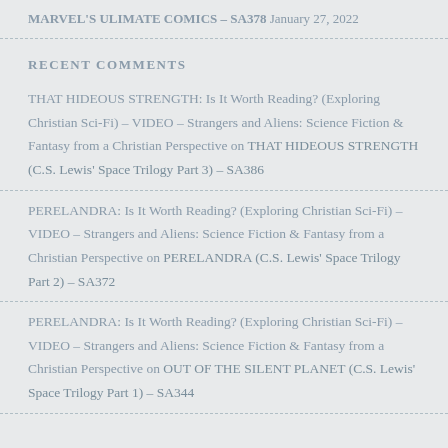MARVEL'S ULIMATE COMICS – SA378 January 27, 2022
RECENT COMMENTS
THAT HIDEOUS STRENGTH: Is It Worth Reading? (Exploring Christian Sci-Fi) – VIDEO – Strangers and Aliens: Science Fiction & Fantasy from a Christian Perspective on THAT HIDEOUS STRENGTH (C.S. Lewis' Space Trilogy Part 3) – SA386
PERELANDRA: Is It Worth Reading? (Exploring Christian Sci-Fi) – VIDEO – Strangers and Aliens: Science Fiction & Fantasy from a Christian Perspective on PERELANDRA (C.S. Lewis' Space Trilogy Part 2) – SA372
PERELANDRA: Is It Worth Reading? (Exploring Christian Sci-Fi) – VIDEO – Strangers and Aliens: Science Fiction & Fantasy from a Christian Perspective on OUT OF THE SILENT PLANET (C.S. Lewis' Space Trilogy Part 1) – SA344